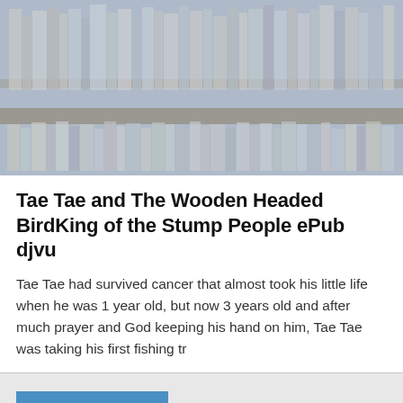[Figure (photo): A bookshelf with multiple books arranged vertically, slightly faded/washed out appearance]
Tae Tae and The Wooden Headed BirdKing of the Stump People ePub djvu
Tae Tae had survived cancer that almost took his little life when he was 1 year old, but now 3 years old and after much prayer and God keeping his hand on him, Tae Tae was taking his first fishing tr
Read more